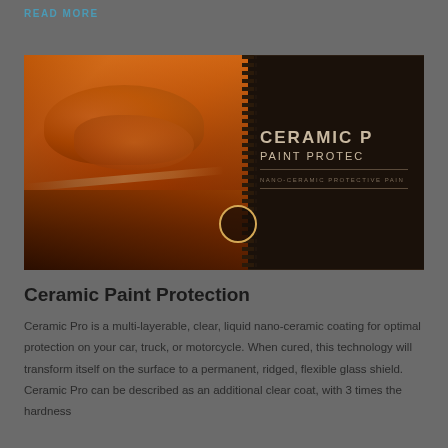READ MORE
[Figure (photo): Product advertisement image split into two halves: left shows a close-up of a shiny amber/orange classic car hood and fender with chrome trim; right shows a dark background panel with text 'CERAMIC P[RO]' and 'PAINT PROTEC[TION]' and 'NANO-CERAMIC PROTECTIVE PAI[NT]' in uppercase letters. A circular icon/logo appears at the bottom center of the image.]
Ceramic Paint Protection
Ceramic Pro is a multi-layerable, clear, liquid nano-ceramic coating for optimal protection on your car, truck, or motorcycle. When cured, this technology will transform itself on the surface to a permanent, ridged, flexible glass shield. Ceramic Pro can be described as an additional clear coat, with 3 times the hardness